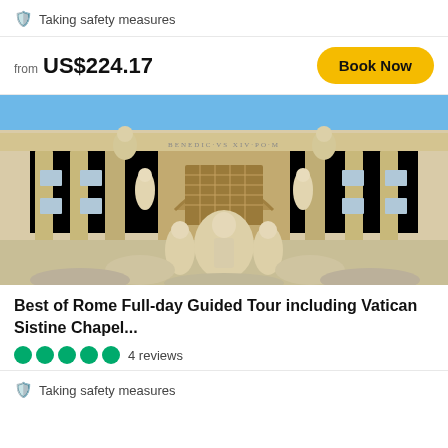Taking safety measures
from US$224.17
[Figure (photo): Trevi Fountain in Rome — large baroque fountain with classical statues of Neptune and other figures, ornate columns, arched niches, and carved stone facade under a blue sky]
Best of Rome Full-day Guided Tour including Vatican Sistine Chapel...
4 reviews
Taking safety measures